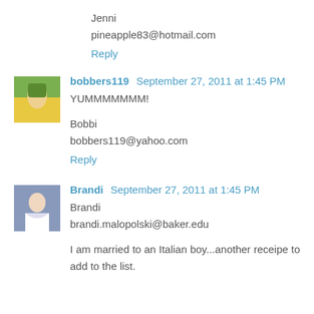Jenni
pineapple83@hotmail.com
Reply
bobbers119  September 27, 2011 at 1:45 PM
YUMMMMMMM!

Bobbi
bobbers119@yahoo.com
Reply
Brandi  September 27, 2011 at 1:45 PM
Brandi
brandi.malopolski@baker.edu

I am married to an Italian boy...another receipe to add to the list.